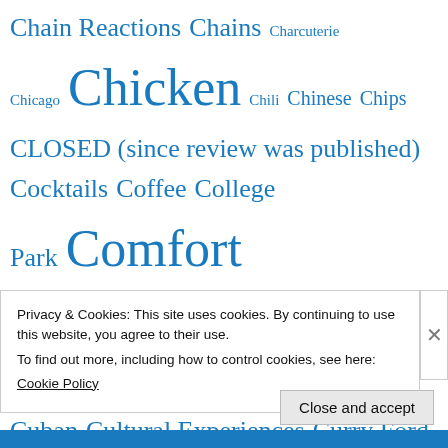Chain Reactions  Chains  Charcuterie  Chicago  Chicken  Chili  Chinese  Chips  CLOSED (since review was published)  Cocktails  Coffee  College Park  Comfort food  Competition  Condiments and Sauces  Convenience stores  Convention Center  Cuban  Cultural Experiences  Curry Ford  Cutting the Mustard  Daytona Beach  Deli
Privacy & Cookies: This site uses cookies. By continuing to use this website, you agree to their use.
To find out more, including how to control cookies, see here:
Cookie Policy
Close and accept